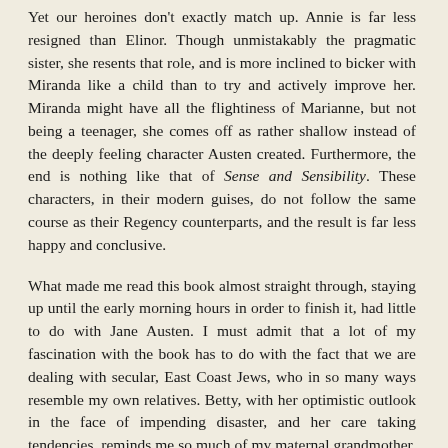Yet our heroines don't exactly match up. Annie is far less resigned than Elinor. Though unmistakably the pragmatic sister, she resents that role, and is more inclined to bicker with Miranda like a child than to try and actively improve her. Miranda might have all the flightiness of Marianne, but not being a teenager, she comes off as rather shallow instead of the deeply feeling character Austen created. Furthermore, the end is nothing like that of Sense and Sensibility. These characters, in their modern guises, do not follow the same course as their Regency counterparts, and the result is far less happy and conclusive.
What made me read this book almost straight through, staying up until the early morning hours in order to finish it, had little to do with Jane Austen. I must admit that a lot of my fascination with the book has to do with the fact that we are dealing with secular, East Coast Jews, who in so many ways resemble my own relatives. Betty, with her optimistic outlook in the face of impending disaster, and her care taking tendencies, reminds me so much of my maternal grandmother, who I lived with for many years and lost in 2004. Since my pregnancy, I have missed her more than ever. Annie and Miranda, too, could almost be my mother and her older sister: one stoically practical, and the other unpredictably